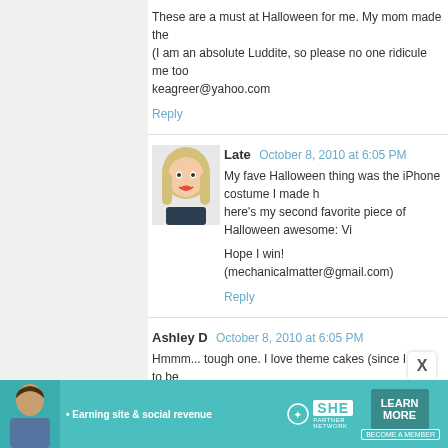These are a must at Halloween for me. My mom made the (I am an absolute Luddite, so please no one ridicule me too keagreer@yahoo.com
Reply
Late  October 8, 2010 at 6:05 PM
My fave Halloween thing was the iPhone costume I made h here's my second favorite piece of Halloween awesome: Vi
Hope I win!
(mechanicalmatter@gmail.com)
Reply
Ashley D  October 8, 2010 at 6:05 PM
Hmmm... tough one. I love theme cakes (since I want to be (I'm a geek with many random interests :D) so I'd have to sa
abelledavis2@hotmail.com
Reply
[Figure (illustration): Avatar of user 'Late' - illustrated cartoon of a blonde woman]
[Figure (illustration): Advertisement banner: SHE Partner Network - Earning site & social revenue, LEARN MORE, BECOME A MEMBER]